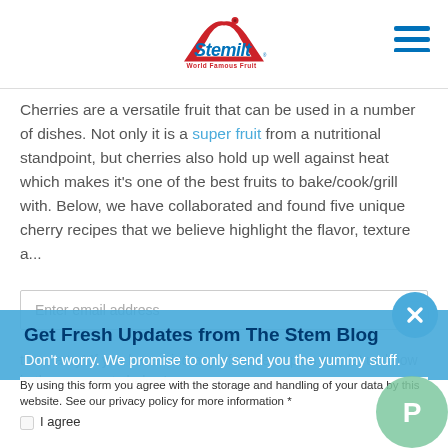[Figure (logo): Stemilt World Famous Fruit logo with red mountain/apple graphic and ladybug on top]
Cherries are a versatile fruit that can be used in a number of dishes. Not only it is a super fruit from a nutritional standpoint, but cherries also hold up well against heat which makes it's one of the best fruits to bake/cook/grill with. Below, we have collaborated and found five unique cherry recipes that we believe highlight the flavor, texture and...
Get Fresh Updates from The Stem Blog
Don't worry. We promise to only send you the yummy stuff.
Enter email address
By using this form you agree with the storage and handling of your data by this website. See our privacy policy for more information *
I agree